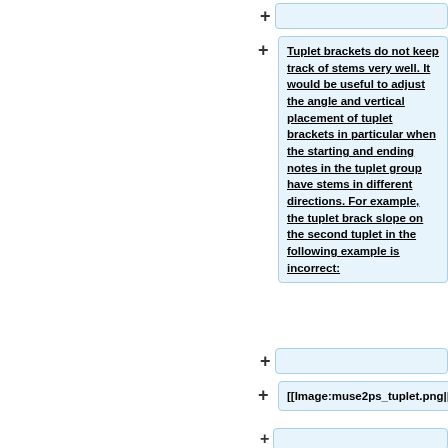+
Tuplet brackets do not keep track of stems very well.  It would be useful to adjust the angle and vertical placement of tuplet brackets in particular when the starting and ending notes in the tuplet group have stems in different directions.  For example, the tuplet brack slope on the second tuplet in the following example is incorrect:
+
[[Image:muse2ps_tuplet.png||center]]
+